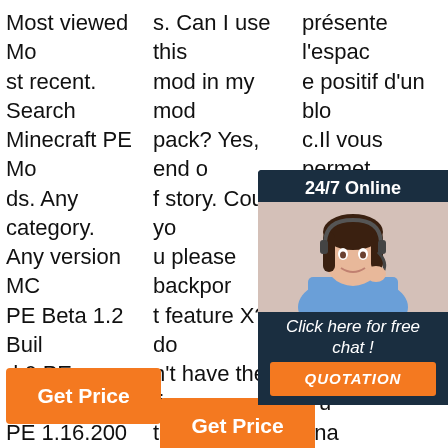Most viewed Most recent. Search Minecraft PE Mods. Any category. Any version MC PE Beta 1.2 Build 6 PE 1.17.0.02 PE 1.16.200 PE 1.15.200. Apply Filters. Upload Mod. 'chisel and bit mod' Mod Clear filters.
s. Can I use this mod in my mod pack? Yes, end of story. Could you please backport feature X? I don't have the time to do this sort of thing but, heres the code feel free to try your hand at it. Why don't glowstone bits glow; Can I ...
présente l'espace positif d'un bloc.Il vous permet de reproduire ou acte ssir en l ux b u m e fa c u ena nécessaire Chisels & Bits Mod 1.16.5/1.12.2 adds several chisels, a wrench and wa
[Figure (infographic): 24/7 Online chat support widget with photo of woman wearing headset, 'Click here for free chat!' text, and orange QUOTATION button]
Get Price
Get Price